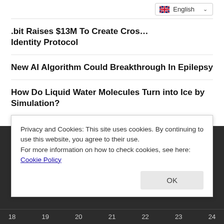English (language selector)
.bit Raises $13M To Create Cross-Chain Identity Protocol
New AI Algorithm Could Breakthrough In Epilepsy
How Do Liquid Water Molecules Turn into Ice by Simulation?
NEWS ARCHIVE
AUGUST 2014
Privacy and Cookies: This site uses cookies. By continuing to use this website, you agree to their use.
For more information on how to check cookies, see here: Cookie Policy
OK
18  19  20  21  22  23  24